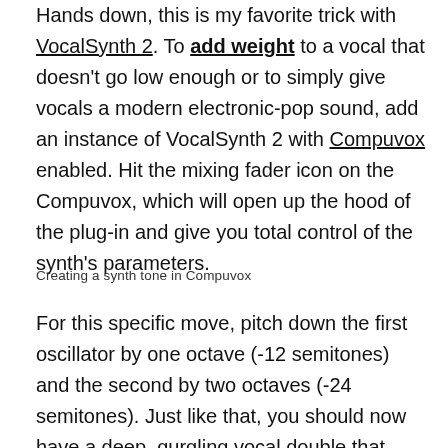Hands down, this is my favorite trick with VocalSynth 2. To add weight to a vocal that doesn't go low enough or to simply give vocals a modern electronic-pop sound, add an instance of VocalSynth 2 with Compuvox enabled. Hit the mixing fader icon on the Compuvox, which will open up the hood of the plug-in and give you total control of the synth's parameters.
Creating a synth tone in Compuvox
For this specific move, pitch down the first oscillator by one octave (-12 semitones) and the second by two octaves (-24 semitones). Just like that, you should now have a deep, gurgling vocal double that supports the original. Conversely, you can pitch the oscillators up for a high pitch double, or use intervals to harmonize